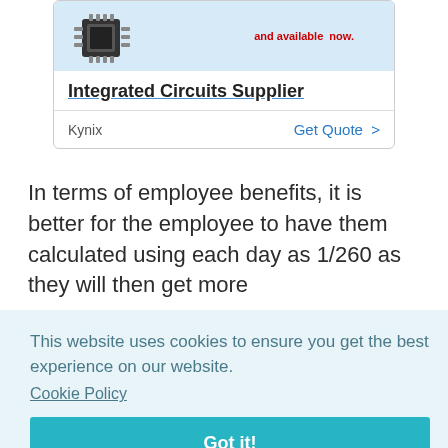[Figure (screenshot): Advertisement card for Integrated Circuits Supplier showing a chip image, red tagline text 'and available now.', bold title 'Integrated Circuits Supplier', and a row with 'Kynix' and 'Get Quote >' link]
In terms of employee benefits, it is better for the employee to have them calculated using each day as 1/260 as they will then get more [text continues, partially obscured] hen
[Figure (screenshot): Cookie consent overlay with light blue background. Text: 'This website uses cookies to ensure you get the best experience on our website.' with 'Cookie Policy' link and a teal 'Got it!' button. Also partially visible background text: 'lose' and 'n']
ome precedents set about which calculations should